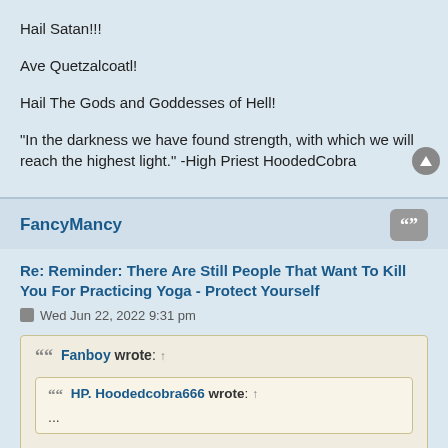Hail Satan!!!
Ave Quetzalcoatl!
Hail The Gods and Goddesses of Hell!
"In the darkness we have found strength, with which we will reach the highest light." -High Priest HoodedCobra
FancyMancy
Re: Reminder: There Are Still People That Want To Kill You For Practicing Yoga - Protect Yourself
Wed Jun 22, 2022 9:31 pm
Fanboy wrote: ↑
HP. Hoodedcobra666 wrote: ↑
...
I'm coming to kill you with a knife Hooded cobra, I'm on my